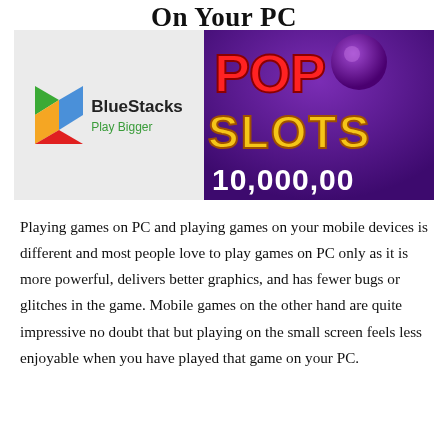On Your PC
[Figure (illustration): Side-by-side images: BlueStacks logo (green, yellow, red triangle logo with text BlueStacks Play Bigger on grey background) and Pop Slots game screenshot (purple background with red POP text, golden SLOTS text, and 10,000,000 text)]
Playing games on PC and playing games on your mobile devices is different and most people love to play games on PC only as it is more powerful, delivers better graphics, and has fewer bugs or glitches in the game. Mobile games on the other hand are quite impressive no doubt that but playing on the small screen feels less enjoyable when you have played that game on your PC.